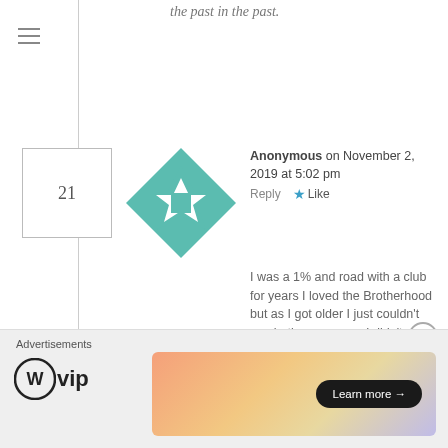the past in the past.
Anonymous on November 2, 2019 at 5:02 pm   Reply   ★ Like
[Figure (illustration): Teal and white geometric quilt-pattern avatar icon]
I was a 1% and road with a club for years I loved the Brotherhood but as I got older I just couldn't see hating someone I didn't even know because of the colors he had on I've always said if we all could get along we would be unstoppable I really hope I see that before I long gone I really think it's crazy we all live for the same thing I know that this is only my opinion but I have earned it been in the lifestyle for
Advertisements
[Figure (logo): WordPress VIP logo with circle W icon and 'vip' text]
[Figure (illustration): Gradient advertisement banner with 'Learn more →' button]